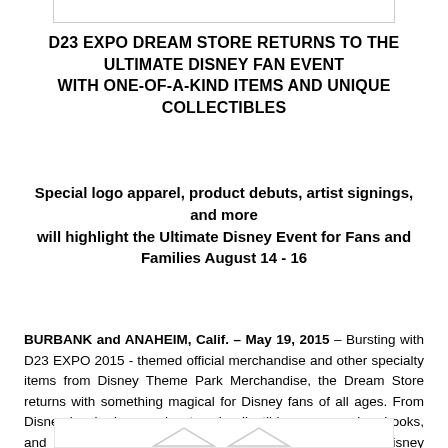[Figure (other): Top image bar placeholder]
D23 EXPO DREAM STORE RETURNS TO THE ULTIMATE DISNEY FAN EVENT WITH ONE-OF-A-KIND ITEMS AND UNIQUE COLLECTIBLES
Special logo apparel, product debuts, artist signings, and more will highlight the Ultimate Disney Event for Fans and Families August 14 - 16
BURBANK and ANAHEIM, Calif. – May 19, 2015 – Bursting with D23 EXPO 2015 - themed official merchandise and other specialty items from Disney Theme Park Merchandise, the Dream Store returns with something magical for Disney fans of all ages. From Disney-inspired apparel, art and collectibles, accessories, books, and more, the D23 EXPO 2015 Dream Store is a Disney enthusiast's dream come true.  Highlights include:
[Figure (other): Bottom image bar placeholder with decorative element]